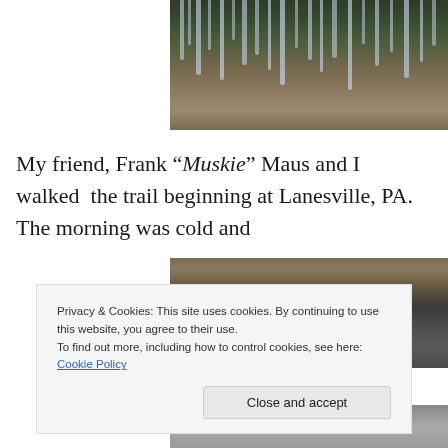[Figure (photo): Close-up photo of icicles hanging from a rocky mossy cliff face with leaf-covered ground below]
My friend, Frank “Muskie” Maus and I walked the trail beginning at Lanesville, PA. The morning was cold and
[Figure (photo): Photo of a partially frozen stream or creek edge with ice along the bank and brown water]
Privacy & Cookies: This site uses cookies. By continuing to use this website, you agree to their use.
To find out more, including how to control cookies, see here: Cookie Policy
Close and accept
[Figure (photo): Partial photo of a gray/stone surface, possibly a bridge or rock face near water]